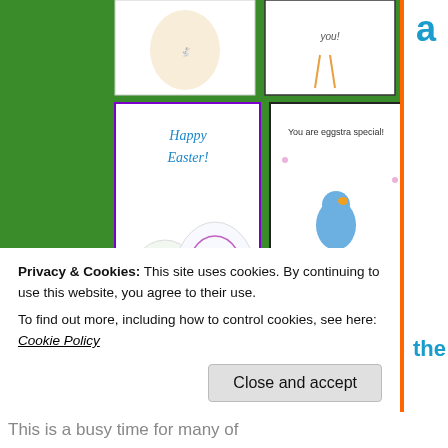[Figure (screenshot): Grid of Easter greeting cards on a green background. Cards include: 'Happy Easter!' with decorated eggs, 'You are eggstra special!' with a duck on a pedestal, 'Happy Easter!' with a bunny wearing flower crown, card with birds, 'I carrot about you!' with carrots, 'Happy Easter!' with pink tulips.]
Privacy & Cookies: This site uses cookies. By continuing to use this website, you agree to their use.
To find out more, including how to control cookies, see here: Cookie Policy
Close and accept
This is a busy time for many of